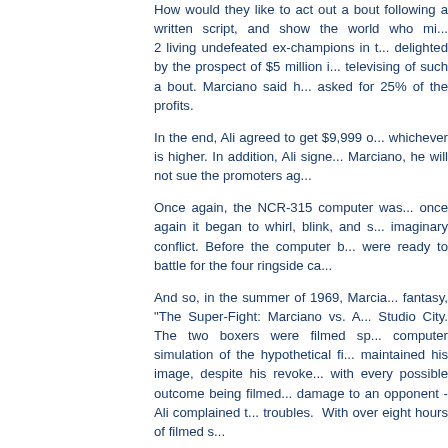How would they like to act out a bout following a written script, and show the world who might win if the 2 living undefeated ex-champions in the world? Ali delighted by the prospect of $5 million in funding for televising of such a bout. Marciano said he would have asked for 25% of the profits.
In the end, Ali agreed to get $9,999 or 25% whichever is higher. In addition, Ali signed that if beats Marciano, he will not sue the promoters ag...
Once again, the NCR-315 computer was once again it began to whirl, blink, and s... imaginary conflict. Before the computer b... were ready to battle for the four ringside ca...
And so, in the summer of 1969, Marcia... fantasy, "The Super-Fight: Marciano vs. A... Studio City. The two boxers were filmed sp... computer simulation of the hypothetical fi... maintained his image, despite his revoke... with every possible outcome being filmed... damage to an opponent - Ali complained t... troubles. With over eight hours of filmed s...
"All my Bags are Packed..."